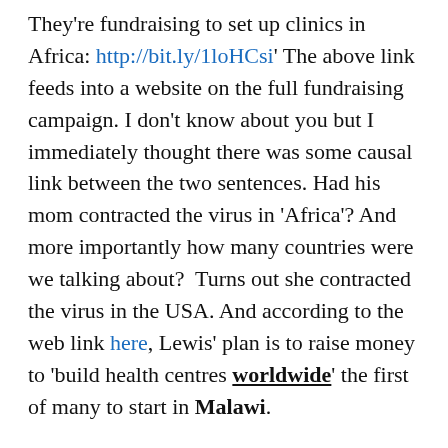They're fundraising to set up clinics in Africa: http://bit.ly/1loHCsi' The above link feeds into a website on the full fundraising campaign. I don't know about you but I immediately thought there was some causal link between the two sentences. Had his mom contracted the virus in 'Africa'? And more importantly how many countries were we talking about?  Turns out she contracted the virus in the USA. And according to the web link here, Lewis' plan is to raise money to 'build health centres worldwide' the first of many to start in Malawi.
So the response I got after tackling the author went like this: "To answer your points – we have about 20 words to convey a complicated story – which is why we link to the full article. We said "Africa" as the idea behind the project is to build healthcare centres to start